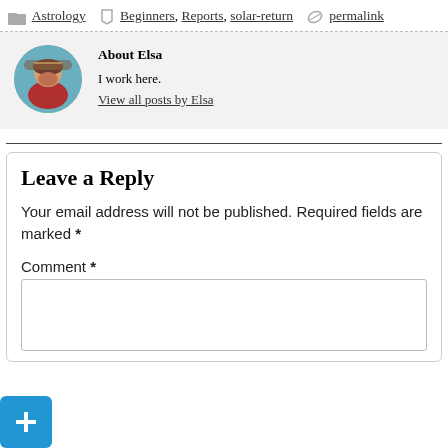Astrology  Beginners, Reports, solar-return  permalink
About Elsa
I work here.
View all posts by Elsa
Leave a Reply
Your email address will not be published. Required fields are marked *
Comment *